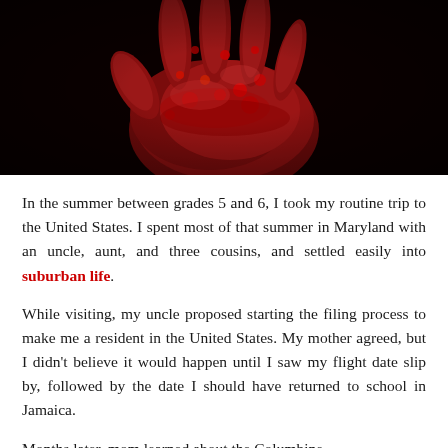[Figure (photo): Close-up photograph of a blood-covered hand against a black background]
In the summer between grades 5 and 6, I took my routine trip to the United States. I spent most of that summer in Maryland with an uncle, aunt, and three cousins, and settled easily into suburban life.
While visiting, my uncle proposed starting the filing process to make me a resident in the United States. My mother agreed, but I didn't believe it would happen until I saw my flight date slip by, followed by the date I should have returned to school in Jamaica.
Months later, mom learned about the Columbine